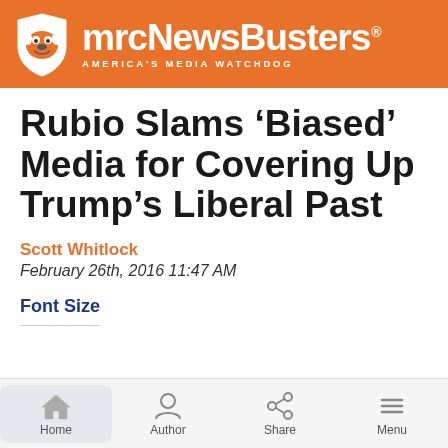mrcNewsBusters — AMERICA'S MEDIA WATCHDOG
Rubio Slams ‘Biased’ Media for Covering Up Trump’s Liberal Past
Scott Whitlock
February 26th, 2016 11:47 AM
Font Size
Home | Author | Share | Menu